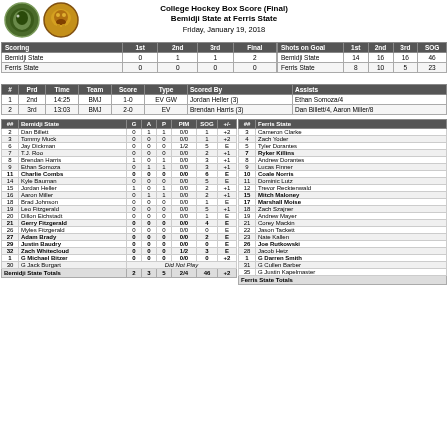College Hockey Box Score (Final)
Bemidji State at Ferris State
Friday, January 19, 2018
| Scoring | 1st | 2nd | 3rd | Final |
| --- | --- | --- | --- | --- |
| Bemidji State | 0 | 1 | 1 | 2 |
| Ferris State | 0 | 0 | 0 | 0 |
| Shots on Goal | 1st | 2nd | 3rd | SOG |
| --- | --- | --- | --- | --- |
| Bemidji State | 14 | 16 | 16 | 46 |
| Ferris State | 8 | 10 | 5 | 23 |
| # | Prd | Time | Team | Score | Type | Scored By | Assists |
| --- | --- | --- | --- | --- | --- | --- | --- |
| 1 | 2nd | 14:25 | BMJ | 1-0 | EV GW | Jordan Heller (3) | Ethan Somoza/4 |
| 2 | 3rd | 13:03 | BMJ | 2-0 | EV | Brendan Harris (3) | Dan Billett/4, Aaron Miller/8 |
| ## | Bemidji State | G | A | P | PIM | SOG | +/- |
| --- | --- | --- | --- | --- | --- | --- | --- |
| 2 | Dan Billett | 0 | 1 | 1 | 0/0 | 1 | +2 |
| 3 | Tommy Muck | 0 | 0 | 0 | 0/0 | 1 | +2 |
| 6 | Jay Dickman | 0 | 0 | 0 | 1/2 | 5 | E |
| 7 | T.J. Roo | 0 | 0 | 0 | 0/0 | 2 | +1 |
| 8 | Brendan Harris | 1 | 0 | 1 | 0/0 | 3 | +1 |
| 9 | Ethan Somoza | 0 | 1 | 1 | 0/0 | 3 | +1 |
| 11 | Charlie Combs | 0 | 0 | 0 | 0/0 | 6 | E |
| 14 | Kyle Bauman | 0 | 0 | 0 | 0/0 | 5 | E |
| 15 | Jordan Heller | 1 | 0 | 1 | 0/0 | 2 | +1 |
| 16 | Aaron Miller | 0 | 1 | 1 | 0/0 | 2 | +1 |
| 18 | Brad Johnson | 0 | 0 | 0 | 0/0 | 1 | E |
| 19 | Leo Fitzgerald | 0 | 0 | 0 | 0/0 | 5 | +1 |
| 20 | Dillon Eichstadt | 0 | 0 | 0 | 0/0 | 1 | E |
| 21 | Gerry Fitzgerald | 0 | 0 | 0 | 0/0 | 4 | E |
| 26 | Myles Fitzgerald | 0 | 0 | 0 | 0/0 | 0 | E |
| 27 | Adam Brady | 0 | 0 | 0 | 0/0 | 2 | E |
| 29 | Justin Baudry | 0 | 0 | 0 | 0/0 | 0 | E |
| 32 | Zach Whitecloud | 0 | 0 | 0 | 1/2 | 3 | E |
| 1 | G Michael Bitzer | 0 | 0 | 0 | 0/0 | 0 | +2 |
| 30 | G Jack Burgart |  |  | Did Not Play |  |  |  |
| ## | Ferris State |
| --- | --- |
| 3 | Cameron Clarke |
| 4 | Zach Yoder |
| 5 | Tyler Dorantes |
| 7 | Ryker Killins |
| 8 | Andrew Dorantes |
| 9 | Lucas Finner |
| 10 | Coale Norris |
| 11 | Dominic Lutz |
| 12 | Trevor Recktenwald |
| 15 | Mitch Maloney |
| 17 | Marshall Moise |
| 18 | Zach Szajner |
| 19 | Andrew Mayer |
| 21 | Corey Mackin |
| 22 | Jason Tackett |
| 23 | Nate Kallen |
| 26 | Joe Rutkowski |
| 28 | Jacob Hetz |
| 1 | G Darren Smith |
| 31 | G Cullen Barber |
| 35 | G Justin Kapelmaster |
Bemidji State Totals: G=2, A=3, P=5, PIM=2/4, SOG=46, +/-=+2
Ferris State Totals